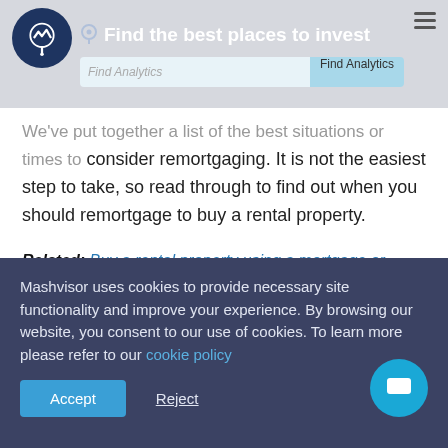Find the best places to invest
We've put together a list of the best situations or times to consider remortgaging. It is not the easiest step to take, so read through to find out when you should remortgage to buy a rental property.
Related: Buy a rental property using a mortgage or cash?
When Should You Remortgage to Buy a Rental Property?
Mashvisor uses cookies to provide necessary site functionality and improve your experience. By browsing our website, you consent to our use of cookies. To learn more please refer to our cookie policy